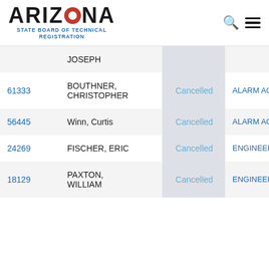[Figure (logo): Arizona State Board of Technical Registration logo with red circle in the O]
| Number | Name | Status | Type |
| --- | --- | --- | --- |
|  | JOSEPH |  |  |
| 61333 | BOUTHNER, CHRISTOPHER | Cancelled | ALARM AGENT |
| 56445 | Winn, Curtis | Cancelled | ALARM AGENT |
| 24269 | FISCHER, ERIC | Cancelled | ENGINEER/CIV |
| 18129 | PAXTON, WILLIAM | Cancelled | ENGINEER/ST |